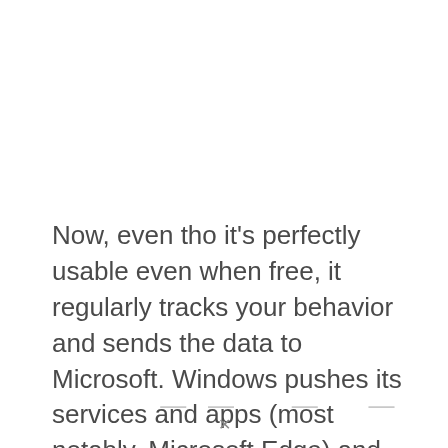Now, even tho it's perfectly usable even when free, it regularly tracks your behavior and sends the data to Microsoft. Windows pushes its services and apps (most notably, Microsoft Edge) and somewhat forces them on you. You